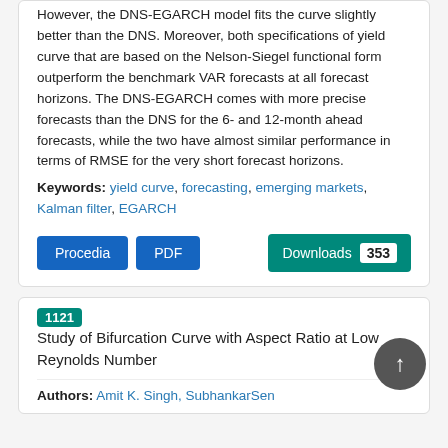However, the DNS-EGARCH model fits the curve slightly better than the DNS. Moreover, both specifications of yield curve that are based on the Nelson-Siegel functional form outperform the benchmark VAR forecasts at all forecast horizons. The DNS-EGARCH comes with more precise forecasts than the DNS for the 6- and 12-month ahead forecasts, while the two have almost similar performance in terms of RMSE for the very short forecast horizons.
Keywords: yield curve, forecasting, emerging markets, Kalman filter, EGARCH
Procedia  PDF  Downloads 353
1121  Study of Bifurcation Curve with Aspect Ratio at Low Reynolds Number
Authors: Amit K. Singh, SubhankarSen...